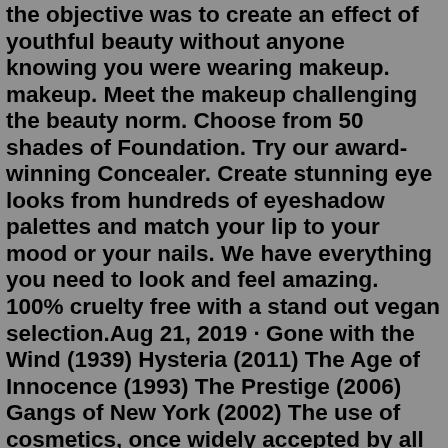the objective was to create an effect of youthful beauty without anyone knowing you were wearing makeup. makeup. Meet the makeup challenging the beauty norm. Choose from 50 shades of Foundation. Try our award-winning Concealer. Create stunning eye looks from hundreds of eyeshadow palettes and match your lip to your mood or your nails. We have everything you need to look and feel amazing. 100% cruelty free with a stand out vegan selection.Aug 21, 2019 · Gone with the Wind (1939) Hysteria (2011) The Age of Innocence (1993) The Prestige (2006) Gangs of New York (2002) The use of cosmetics, once widely accepted by all classes, became viewed as vulgar, improper, and acceptable only for actors and prostitutes. This was a view brought into public opinion by Queen Victoria of England. Long, back combed hair, pale skin and heavy makeup was worn. The punk style was still being seen in bands including Guns N' Roses which notably saw their jean jackets attached with safety pins, patches, buttons and odd bits of fabric. Paninaro The term Paninaro was used